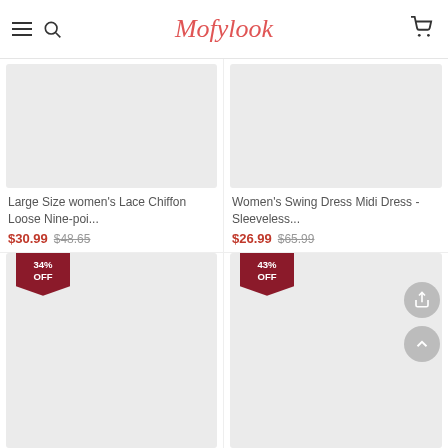Mofylook
[Figure (screenshot): Product image placeholder - grey rectangle for Large Size women's Lace Chiffon Loose Nine-poi...]
Large Size women's Lace Chiffon Loose Nine-poi...
$30.99  $48.65
[Figure (screenshot): Product image placeholder - grey rectangle for Women's Swing Dress Midi Dress - Sleeveless...]
Women's Swing Dress Midi Dress - Sleeveless...
$26.99  $65.99
[Figure (screenshot): Product image placeholder with 34% OFF badge]
[Figure (screenshot): Product image placeholder with 43% OFF badge]